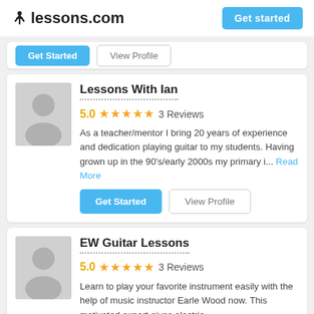lessons.com | Get started
Get Started | View Profile (partial card buttons)
Lessons With Ian
5.0  ★★★★★  3 Reviews
As a teacher/mentor I bring 20 years of experience and dedication playing guitar to my students. Having grown up in the 90's/early 2000s my primary i... Read More
Get Started | View Profile
EW Guitar Lessons
5.0  ★★★★★  3 Reviews
Learn to play your favorite instrument easily with the help of music instructor Earle Wood now. This motivated expert gives electric